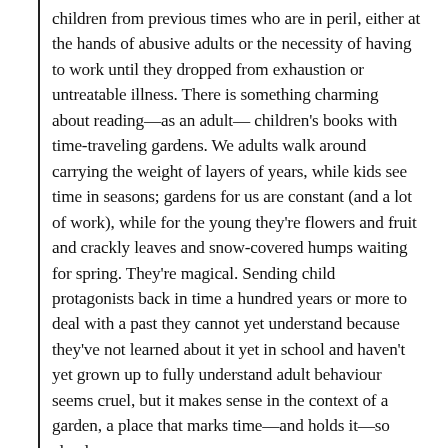children from previous times who are in peril, either at the hands of abusive adults or the necessity of having to work until they dropped from exhaustion or untreatable illness. There is something charming about reading—as an adult—children's books with time-traveling gardens. We adults walk around carrying the weight of layers of years, while kids see time in seasons; gardens for us are constant (and a lot of work), while for the young they're flowers and fruit and crackly leaves and snow-covered humps waiting for spring. They're magical. Sending child protagonists back in time a hundred years or more to deal with a past they cannot yet understand because they've not learned about it yet in school and haven't yet grown up to fully understand adult behaviour seems cruel, but it makes sense in the context of a garden, a place that marks time—and holds it—so clearly.